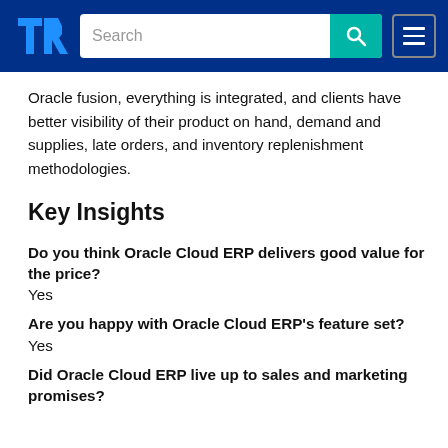TrustRadius navigation bar with logo, search box, and menu
Oracle fusion, everything is integrated, and clients have better visibility of their product on hand, demand and supplies, late orders, and inventory replenishment methodologies.
Key Insights
Do you think Oracle Cloud ERP delivers good value for the price?
Yes
Are you happy with Oracle Cloud ERP's feature set?
Yes
Did Oracle Cloud ERP live up to sales and marketing promises?